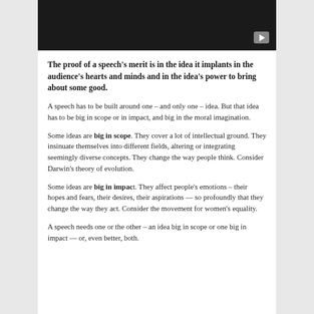[Figure (screenshot): Black video player thumbnail with a grey play button in the bottom-right corner]
The proof of a speech’s merit is in the idea it implants in the audience’s hearts and minds and in the idea’s power to bring about some good.
A speech has to be built around one – and only one – idea. But that idea has to be big in scope or in impact, and big in the moral imagination.
Some ideas are big in scope. They cover a lot of intellectual ground. They insinuate themselves into different fields, altering or integrating seemingly diverse concepts. They change the way people think. Consider Darwin’s theory of evolution.
Some ideas are big in impact. They affect people’s emotions – their hopes and fears, their desires, their aspirations — so profoundly that they change the way they act. Consider the movement for women’s equality.
A speech needs one or the other – an idea big in scope or one big in impact — or, even better, both.